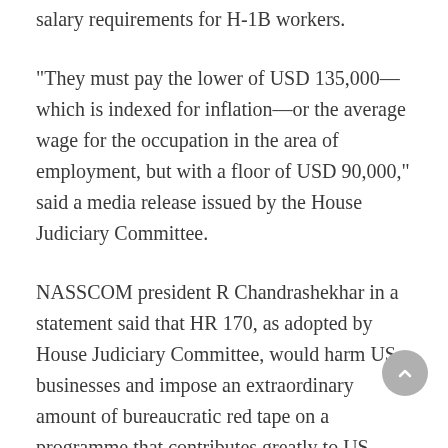salary requirements for H-1B workers.
“They must pay the lower of USD 135,000—which is indexed for inflation—or the average wage for the occupation in the area of employment, but with a floor of USD 90,000,” said a media release issued by the House Judiciary Committee.
NASSCOM president R Chandrashekhar in a statement said that HR 170, as adopted by House Judiciary Committee, would harm US businesses and impose an extraordinary amount of bureaucratic red tape on a programme that contributes greatly to US prosperity.
“It also could disrupt the marketplace, threaten thousands of US jobs, and stifle US innovation by unfairly and arbitrarily targeting a handful of companies who used just 16 per cent of the new H-1B visas in FY 2016 while imposing no new requirements on the vast majority of companies that use